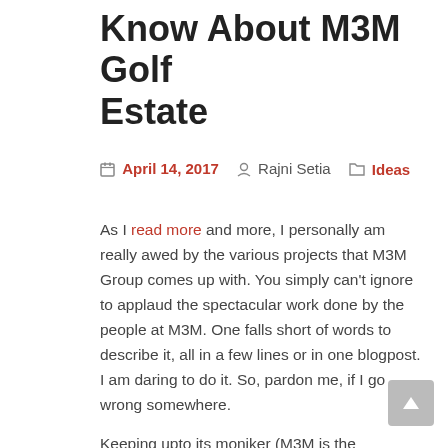Know About M3M Golf Estate
April 14, 2017   Rajni Setia   Ideas
As I read more and more, I personally am really awed by the various projects that M3M Group comes up with. You simply can't ignore to applaud the spectacular work done by the people at M3M. One falls short of words to describe it, all in a few lines or in one blogpost. I am daring to do it. So, pardon me, if I go wrong somewhere.
Keeping upto its moniker (M3M is the abbreviation of, 'Magnificence in the trinity of Men, Materials & Money), the Group is here to give you goosebumps. How? Read on and you'll know what I mean.
Earlier, we discussed about one of the coolest residential